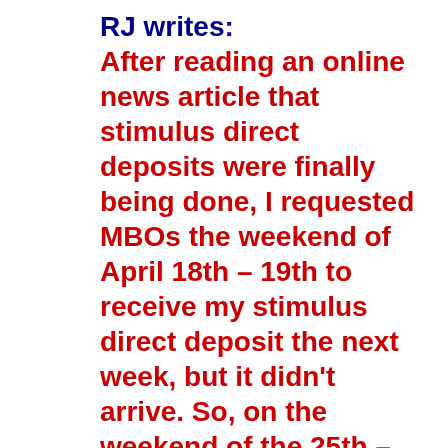RJ writes: After reading an online news article that stimulus direct deposits were finally being done, I requested MBOs the weekend of April 18th – 19th to receive my stimulus direct deposit the next week, but it didn't arrive. So, on the weekend of the 25th – 26th,